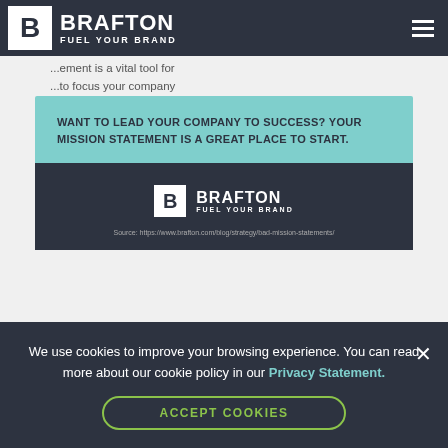BRAFTON FUEL YOUR BRAND
[Figure (screenshot): Brafton blog article screenshot showing a teal call-out banner with text 'WANT TO LEAD YOUR COMPANY TO SUCCESS? YOUR MISSION STATEMENT IS A GREAT PLACE TO START.' and a dark footer with Brafton logo and source URL.]
We use cookies to improve your browsing experience. You can read more about our cookie policy in our Privacy Statement.
ACCEPT COOKIES